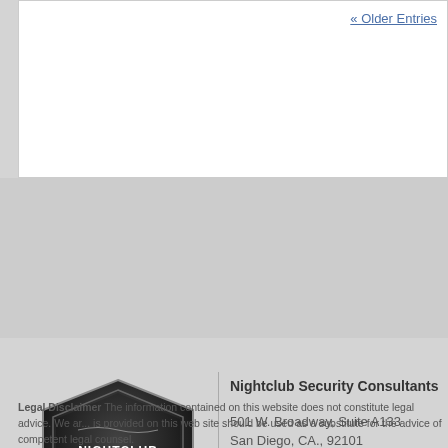« Older Entries
[Figure (logo): Nightclub Security Consultants shield logo with dark metallic appearance, white text on black/dark background]
Nightclub Security Consultants
501 W. Broadway, Suite A133
San Diego, CA., 92101
Legal Disclaimer The information contained on this website does not constitute legal advice. We ar... is provided on this web site should be used as a substitute for the advice of competent legal counsel.